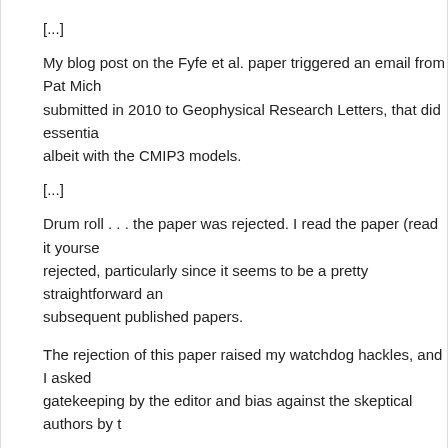[...]
My blog post on the Fyfe et al. paper triggered an email from Pat Mich submitted in 2010 to Geophysical Research Letters, that did essentia albeit with the CMIP3 models.
[...]
Drum roll . . . the paper was rejected. I read the paper (read it yourse rejected, particularly since it seems to be a pretty straightforward an subsequent published papers.
The rejection of this paper raised my watchdog hackles, and I asked gatekeeping by the editor and bias against the skeptical authors by t
[...]
Three years later, it seems pretty obvious and widely acknowledged unable to correctly capture the earth's surface temperature evolutio continues to do good work on this subject; head over to her blog for and the Michaels et al. paper.